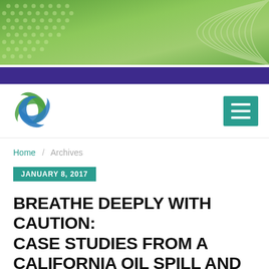[Figure (illustration): Green gradient banner with decorative dot grid pattern on the left and concentric arc lines on the right]
[Figure (logo): Circular swirl logo with green and blue interlocking spiral arms]
Home / Archives
JANUARY 8, 2017
BREATHE DEEPLY WITH CAUTION: CASE STUDIES FROM A CALIFORNIA OIL SPILL AND A LOUISIANA FLOOD